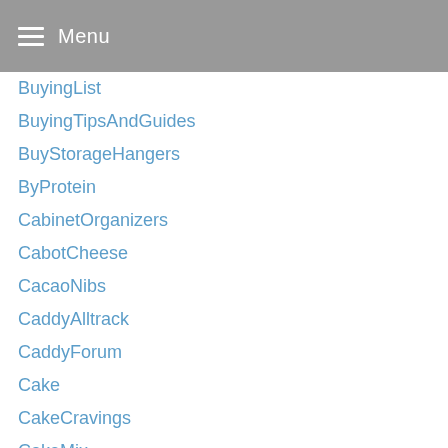Menu
BuyingList
BuyingTipsAndGuides
BuyStorageHangers
ByProtein
CabinetOrganizers
CabotCheese
CacaoNibs
CaddyAlltrack
CaddyForum
Cake
CakeCravings
CakeMix
CakeRecipes
Cakes
CampCooking
CanadianDailyDeals
CandiedRhubarbFlowers